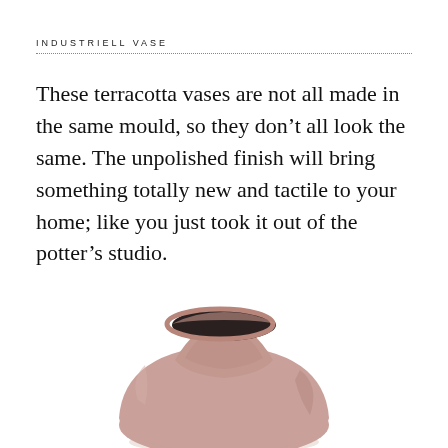INDUSTRIELL VASE
These terracotta vases are not all made in the same mould, so they don't all look the same. The unpolished finish will bring something totally new and tactile to your home; like you just took it out of the potter's studio.
[Figure (photo): A terracotta/clay-colored ceramic vase with matte unpolished finish, shown from above and slightly to the side. The vase has a round bulbous body tapering to a short neck with an irregular, organic rim opening. The surface is smooth matte in a dusty rose-brown terracotta color.]